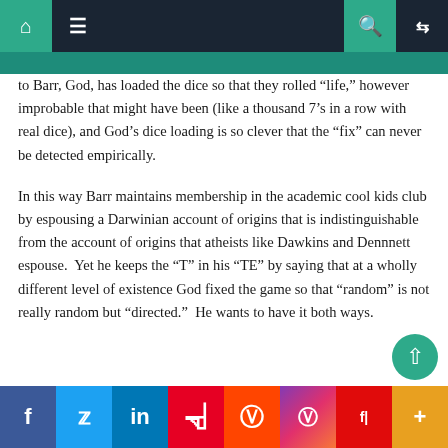Navigation bar with home, menu, search, and shuffle icons
to Barr, God, has loaded the dice so that they rolled “life,” however improbable that might have been (like a thousand 7’s in a row with real dice), and God’s dice loading is so clever that the “fix” can never be detected empirically.
In this way Barr maintains membership in the academic cool kids club by espousing a Darwinian account of origins that is indistinguishable from the account of origins that atheists like Dawkins and Dennnett espouse.  Yet he keeps the “T” in his “TE” by saying that at a wholly different level of existence God fixed the game so that “random” is not really random but “directed.”  He wants to have it both ways.
Social share buttons: Facebook, Twitter, LinkedIn, Pinterest, Reddit, Instagram, Flipboard, More